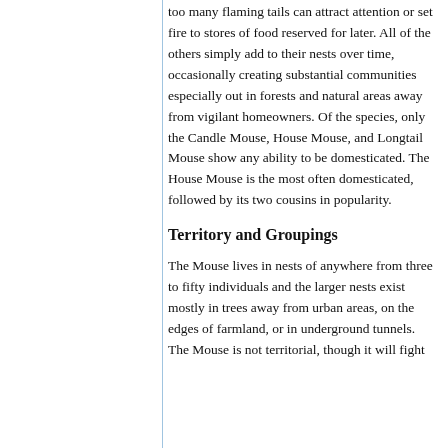too many flaming tails can attract attention or set fire to stores of food reserved for later. All of the others simply add to their nests over time, occasionally creating substantial communities especially out in forests and natural areas away from vigilant homeowners. Of the species, only the Candle Mouse, House Mouse, and Longtail Mouse show any ability to be domesticated. The House Mouse is the most often domesticated, followed by its two cousins in popularity.
Territory and Groupings
The Mouse lives in nests of anywhere from three to fifty individuals and the larger nests exist mostly in trees away from urban areas, on the edges of farmland, or in underground tunnels. The Mouse is not territorial, though it will fight